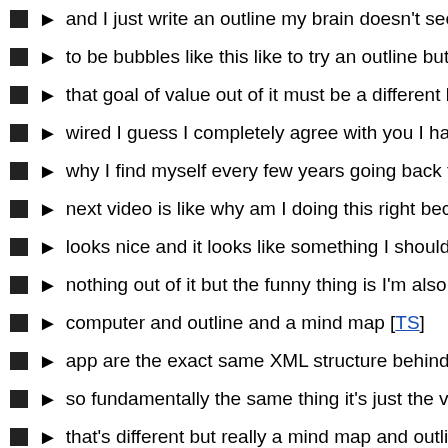► and I just write an outline my brain doesn't seem to click into
► to be bubbles like this like to try an outline but I know that th
► that goal of value out of it must be a different bike weighed t
► wired I guess I completely agree with you I had that same ex
► why I find myself every few years going back to to mind map
► next video is like why am I doing this right because I think th
► looks nice and it looks like something I should be doing but i
► nothing out of it but the funny thing is I'm also perfectly awar
► computer and outline and a mind map [TS]
► app are the exact same XML structure behind the scenes lik
► so fundamentally the same thing it's just the visual represen
► that's different but really a mind map and outline our are nea